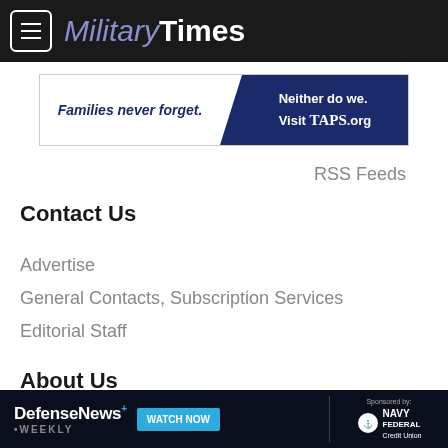MilitaryTimes
[Figure (other): Advertisement banner: 'Families never forget. Neither do we. Visit TAPS.org']
RSS Feeds
Contact Us
Advertise
General Contacts, Subscription Services
Editorial Staff
About Us
[Figure (other): Advertisement banner: DefenseNews Weekly. Watch Now. Sponsored by: Navy Federal Credit Union]